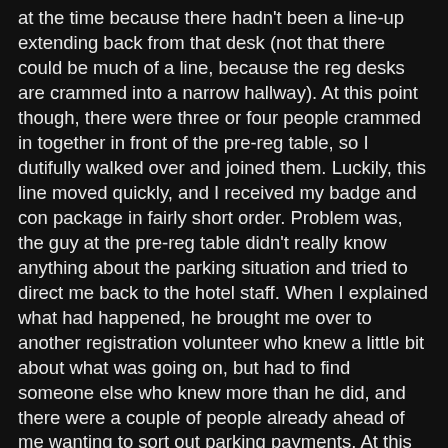at the time because there hadn't been a line-up extending back from that desk (not that there could be much of a line, because the reg desks are crammed into a narrow hallway). At this point though, there were three or four people crammed in together in front of the pre-reg table, so I dutifully walked over and joined them. Luckily, this line moved quickly, and I received my badge and con package in fairly short order. Problem was, the guy at the pre-reg table didn't really know anything about the parking situation and tried to direct me back to the hotel staff. When I explained what had happened, he brought me over to another registration volunteer who knew a little bit about what was going on, but had to find someone else who knew more than he did, and there were a couple of people already ahead of me wanting to sort out parking payments. At this point, it was nearly 2:30, I'd had enough of being pingponged between lines, and I wanted to get up to a session that was starting in a minute or two. So I tabled the parking payment issue for the time being, and went in to find the session room.
That's when I thought that if I was a religious or otherwise superstitious man, I'd say the universe had been telling to tell